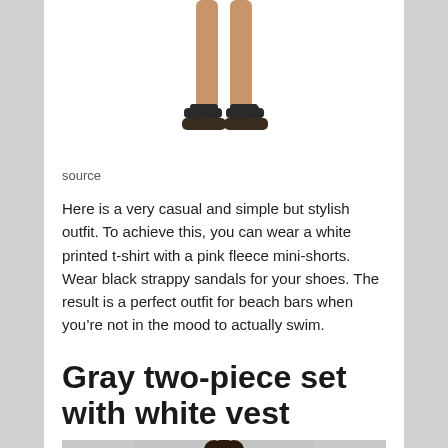[Figure (photo): Cropped photo showing legs and feet wearing black strappy sandals on white background]
source
Here is a very casual and simple but stylish outfit. To achieve this, you can wear a white printed t-shirt with a pink fleece mini-shorts. Wear black strappy sandals for your shoes. The result is a perfect outfit for beach bars when you’re not in the mood to actually swim.
Gray two-piece set with white vest
[Figure (photo): Photo of a woman with curly hair wearing a gray two-piece set with white vest]